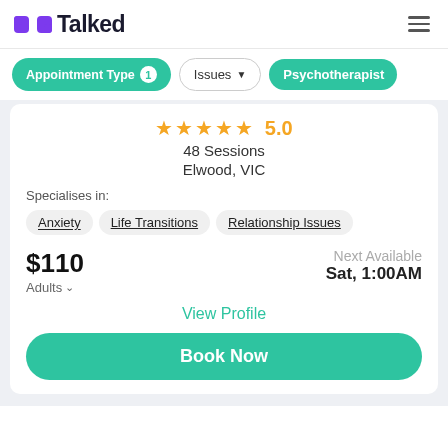Talked
Appointment Type 1
Issues
Psychotherapist
★★★★★ 5.0
48 Sessions
Elwood, VIC
Specialises in:
Anxiety
Life Transitions
Relationship Issues
$110 Adults
Next Available Sat, 1:00AM
View Profile
Book Now